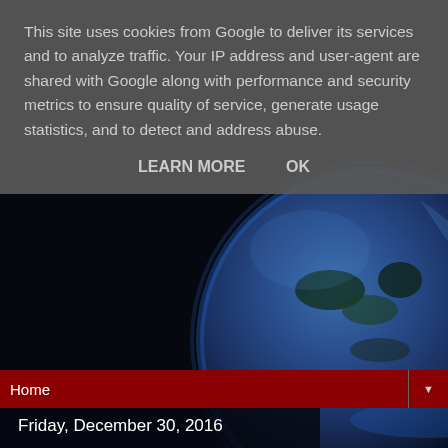This site uses cookies from Google to deliver its services and to analyze traffic. Your IP address and user-agent are shared with Google along with performance and security metrics to ensure quality of service, generate usage statistics, and to detect and address abuse.
LEARN MORE   OK
Home ▼
Friday, December 30, 2016
Polish Story Sale
To round off the year, my short story Rose Coloured Tentacles, which was published last year in Perihelion, has been accepted by Polish magazine Szortal.
This will be my third story published in Polish and means I have 4 stories lined up for publication next year.